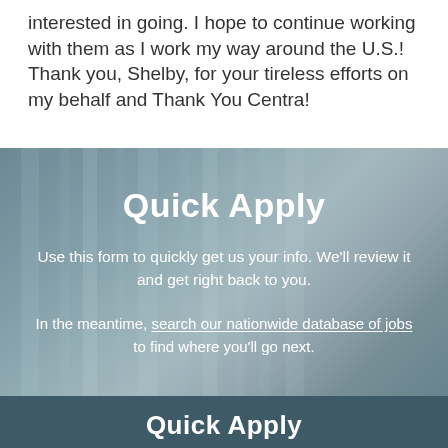interested in going. I hope to continue working with them as I work my way around the U.S.! Thank you, Shelby, for your tireless efforts on my behalf and Thank You Centra!
Quick Apply
Use this form to quickly get us your info. We'll review it and get right back to you.
In the meantime, search our nationwide database of jobs to find where you'll go next.
Quick Apply